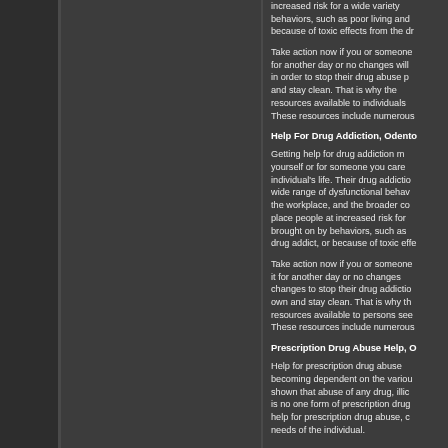increased risk for a wide variety of behaviors, such as poor living and because of toxic effects from the dr
Take action now if you or someone for another day or no changes will in order to stop their drug abuse p and stay clean. That is why the resources available to individuals These resources include numerous
Help For Drug Addiction, Odento
Getting help for drug addiction m yourself or for someone you care individual's life. Their drug addictio wide range of dysfunctional behav the workplace, and the broader co place people at increased risk for brought on by behaviors, such as drug addict, or because of toxic effe
Take action now if you or someone it for another day or no changes changes to stop their drug addictio own and stay clean. That is why th resources available to persons see These resources include numerous
Prescription Drug Abuse Help, O
Help for prescription drug abuse becoming dependent on the variou shown that abuse of any drug, illic is no one form of prescription drug help for prescription drug abuse, c needs of the individual.